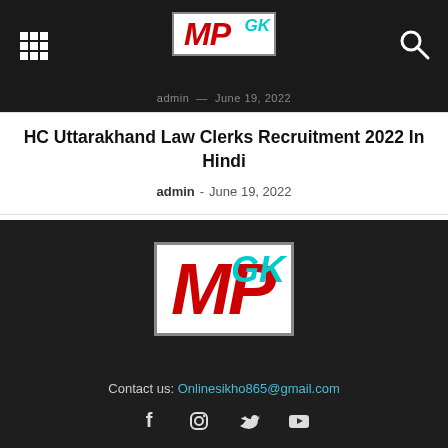MPGK — admin — June 19, 2022
HC Uttarakhand Law Clerks Recruitment 2022 In Hindi
admin - June 19, 2022
[Figure (logo): MPGK logo — MP in large red italic bold text, GK in cyan italic, white background with grey border]
Contact us: Onlinesikho865@gmail.com
[Figure (other): Social media icons: Facebook, Instagram, Twitter, YouTube]